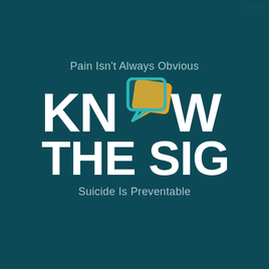[Figure (logo): Know The Signs logo — suicide prevention campaign. Dark teal background. Text 'Pain Isn't Always Obvious' above large bold white text 'KNOW THE SIGNS' with overlapping teal and orange speech bubble icons replacing the letter O. Below reads 'Suicide Is Preventable'.]